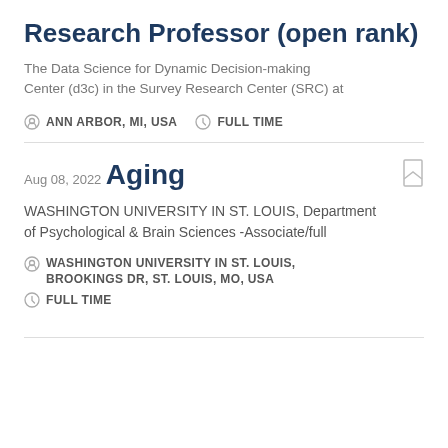Research Professor (open rank)
The Data Science for Dynamic Decision-making Center (d3c) in the Survey Research Center (SRC) at
ANN ARBOR, MI, USA   FULL TIME
Aug 08, 2022
Aging
WASHINGTON UNIVERSITY IN ST. LOUIS, Department of Psychological & Brain Sciences -Associate/full
WASHINGTON UNIVERSITY IN ST. LOUIS, BROOKINGS DR, ST. LOUIS, MO, USA
FULL TIME